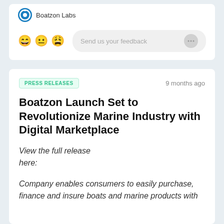Boatzon Labs
Send us your feedback
PRESS RELEASES · 9 months ago
Boatzon Launch Set to Revolutionize Marine Industry with Digital Marketplace
View the full release here:
Company enables consumers to easily purchase, finance and insure boats and marine products with